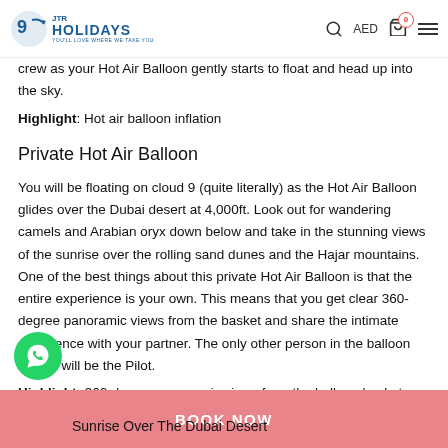JTR HOLIDAYS — YOU'LL LOVE WHERE WE TAKE YOU | AED | Cart: 0
crew as your Hot Air Balloon gently starts to float and head up into the sky.
Highlight: Hot air balloon inflation
Private Hot Air Balloon
You will be floating on cloud 9 (quite literally) as the Hot Air Balloon glides over the Dubai desert at 4,000ft. Look out for wandering camels and Arabian oryx down below and take in the stunning views of the sunrise over the rolling sand dunes and the Hajar mountains. One of the best things about this private Hot Air Balloon is that the entire experience is your own. This means that you get clear 360-degree panoramic views from the basket and share the intimate experience with your partner. The only other person in the balloon basket will be the Pilot.
Highlight: 360-degree panoramic views from the balloon basket
Sunrise Over The Dubai Desert
BOOK NOW